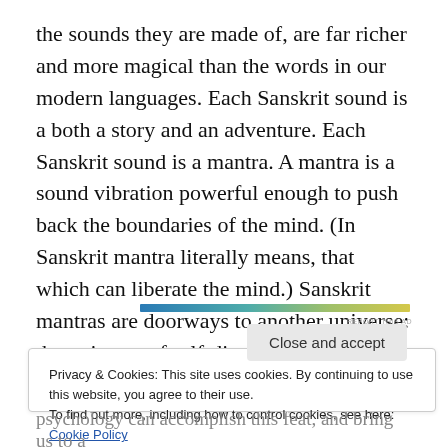the sounds they are made of, are far richer and more magical than the words in our modern languages. Each Sanskrit sound is a both a story and an adventure. Each Sanskrit sound is a mantra. A mantra is a sound vibration powerful enough to push back the boundaries of the mind. (In Sanskrit mantra literally means, that which can liberate the mind.) Sanskrit mantras are doorways to another universe: the universe of self-discovery.
[Figure (other): Horizontal gradient bar from blue on the left to yellow-green on the right, used as an advertisement banner]
REPORT THIS AD
Privacy & Cookies: This site uses cookies. By continuing to use this website, you agree to their use.
To find out more, including how to control cookies, see here: Cookie Policy
Close and accept
psychology can accomplish this feat, and bring us to a